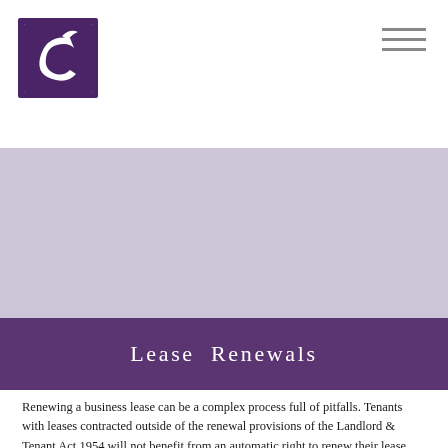[Figure (logo): Company logo: purple/dark square frame with stylized white letter C and bird/animal silhouette inside]
[Figure (photo): Large hero/banner image area (appears light/blank in this rendering)]
Lease Renewals
Renewing a business lease can be a complex process full of pitfalls. Tenants with leases contracted outside of the renewal provisions of the Landlord & Tenant Act 1954 will not benefit from an automatic right to renew their lease and continue occupation. If this is the case it is important to seek early advice to ensure new terms are agreed well